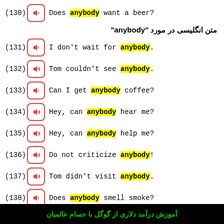(130) Does anybody want a beer?
متن انگلیسی در مورد "anybody"
(131) I don't wait for anybody.
(132) Tom couldn't see anybody.
(133) Can I get anybody coffee?
(134) Hey, can anybody hear me?
(135) Hey, can anybody help me?
(136) Do not criticize anybody!
(137) Tom didn't visit anybody.
(138) Does anybody smell smoke?
آموزش درآمد دلاری از گوگل با حسام عالمیان